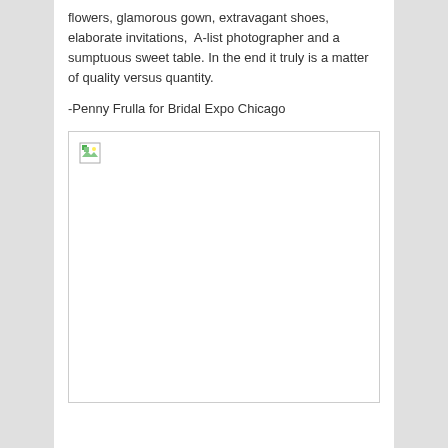flowers, glamorous gown, extravagant shoes, elaborate invitations,  A-list photographer and a sumptuous sweet table. In the end it truly is a matter of quality versus quantity.
-Penny Frulla for Bridal Expo Chicago
[Figure (photo): Broken/missing image placeholder]